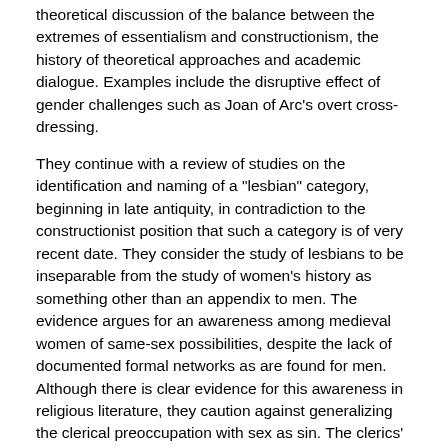theoretical discussion of the balance between the extremes of essentialism and constructionism, the history of theoretical approaches and academic dialogue. Examples include the disruptive effect of gender challenges such as Joan of Arc's overt cross-dressing.
They continue with a review of studies on the identification and naming of a "lesbian" category, beginning in late antiquity, in contradiction to the constructionist position that such a category is of very recent date. They consider the study of lesbians to be inseparable from the study of women's history as something other than an appendix to men. The evidence argues for an awareness among medieval women of same-sex possibilities, despite the lack of documented formal networks as are found for men. Although there is clear evidence for this awareness in religious literature, they caution against generalizing the clerical preoccupation with sex as sin. The clerics' position on the inferiority of women and their "natural" passivity helped drive the condemnation of same-sex pairings, though disapproval went beyond those transgressing this norm. Clement of Alexandra condemned female-female marriages both the "active" member and the "bride". (See Brooten 1997.)
The topics in this volume consider an extensive examination of